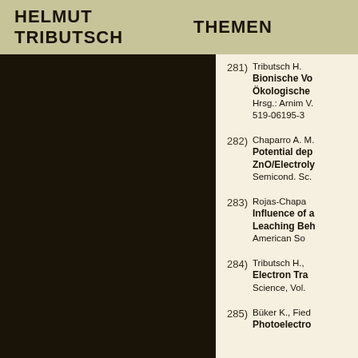HELMUT TRIBUTSCH
THEMEN
281) Tributsch H. Bionische Vo... Ökologische... Hrsg.: Arnim V... 519-06195-3
282) Chaparro A. M. Potential dep... ZnO/Electroly... Semicond. Sc...
283) Rojas-Chapa... Influence of a... Leaching Beh... American So...
284) Tributsch H., Electron Tra... Science, Vol.
285) Büker K., Fied... Photoelectro...